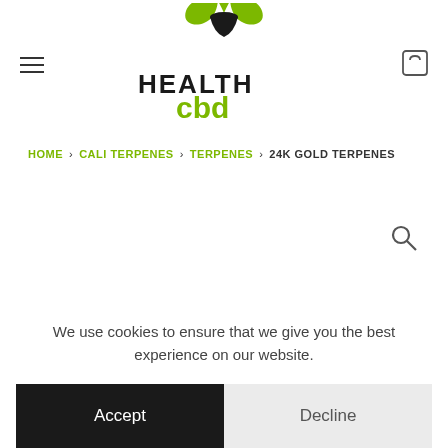[Figure (logo): HealthCBD logo with green cannabis leaf and text HEALTH cbd]
HOME > CALI TERPENES > TERPENES > 24K GOLD TERPENES
OUT OF STOCK
We use cookies to ensure that we give you the best experience on our website.
Accept
Decline